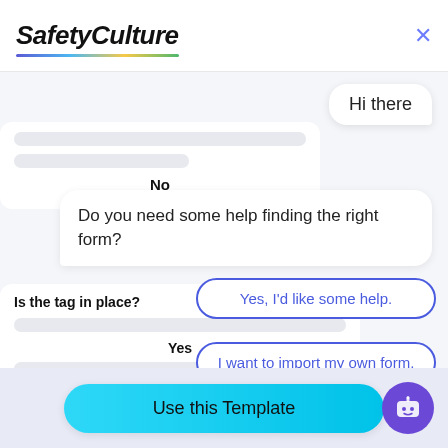[Figure (screenshot): SafetyCulture app header with logo and close button]
Hi there
No
Do you need some help finding the right form?
Is the tag in place
Yes, I'd like some help.
I want to import my own form.
Yes
No, I'm good. Thanks!
No
Use this Template